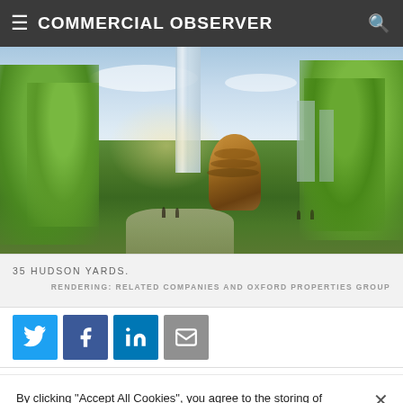COMMERCIAL OBSERVER
[Figure (photo): Architectural rendering of 35 Hudson Yards with the Vessel structure and surrounding park area with trees and pedestrians]
35 HUDSON YARDS. RENDERING: RELATED COMPANIES AND OXFORD PROPERTIES GROUP
[Figure (infographic): Social sharing buttons: Twitter, Facebook, LinkedIn, Email]
By clicking "Accept All Cookies", you agree to the storing of cookies on your device to enhance site navigation, analyze site usage, and assist in our marketing efforts.